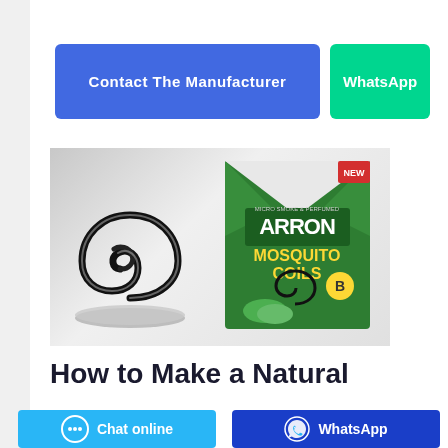Contact The Manufacturer
WhatsApp
[Figure (photo): Photo of Arron brand Mosquito Coils product box (green box with logo and text) alongside a black spiral mosquito coil on a stand, placed on a white surface.]
How to Make a Natural
Chat online
WhatsApp